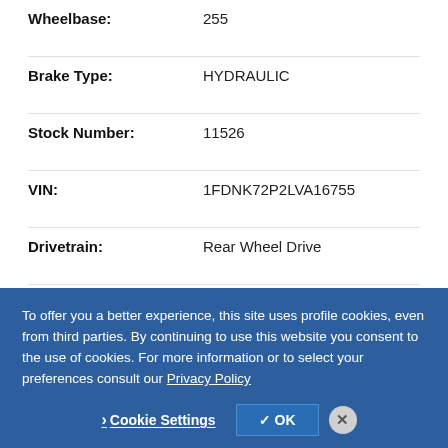Wheelbase: 255
Brake Type: HYDRAULIC
Stock Number: 11526
VIN: 1FDNK72P2LVA16755
Drivetrain: Rear Wheel Drive
Engine
Manufacture: FORD
Engine Model: 6.6L L6 Turbo Diesel
To offer you a better experience, this site uses profile cookies, even from third parties. By continuing to use this website you consent to the use of cookies. For more information or to select your preferences consult our Privacy Policy